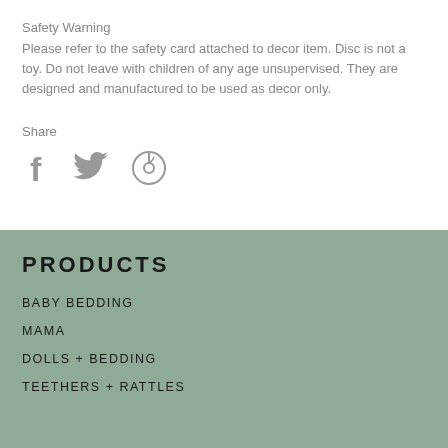Safety Warning
Please refer to the safety card attached to decor item. Disc is not a toy. Do not leave with children of any age unsupervised. They are designed and manufactured to be used as decor only.
Share
[Figure (other): Social media share icons: Facebook (f), Twitter (bird), Pinterest (P)]
PRODUCTS
BABY BEDDING
MAMA
DOLLS + BEDDING
TEETHERS + RATTLES